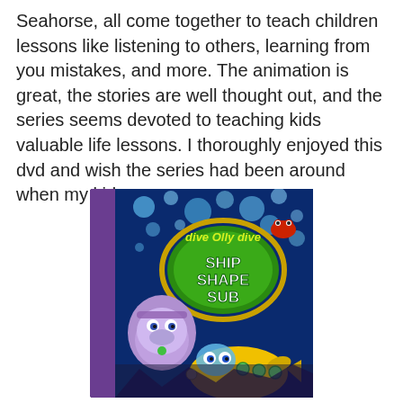Seahorse, all come together to teach children lessons like listening to others, learning from you mistakes, and more. The animation is great, the stories are well thought out, and the series seems devoted to teaching kids valuable life lessons. I thoroughly enjoyed this dvd and wish the series had been around when my kids were younger.
[Figure (photo): DVD cover of 'Dive Olly Dive: Ship Shape Sub' featuring animated underwater characters including a yellow submarine and a purple fish against a blue bubbly background.]